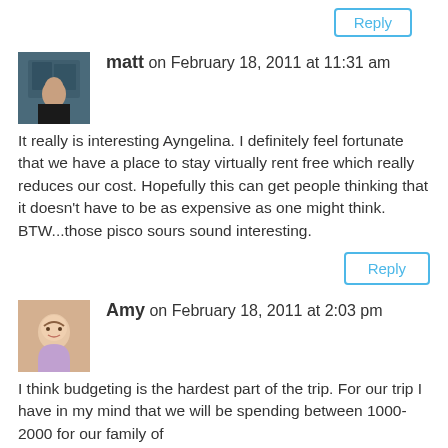Reply
[Figure (photo): Avatar photo of matt — man in dark shirt against temple/monument background]
matt on February 18, 2011 at 11:31 am
It really is interesting Ayngelina. I definitely feel fortunate that we have a place to stay virtually rent free which really reduces our cost. Hopefully this can get people thinking that it doesn't have to be as expensive as one might think. BTW...those pisco sours sound interesting.
Reply
[Figure (photo): Avatar photo of Amy — woman smiling, light background]
Amy on February 18, 2011 at 2:03 pm
I think budgeting is the hardest part of the trip. For our trip I have in my mind that we will be spending between 1000-2000 for our family of